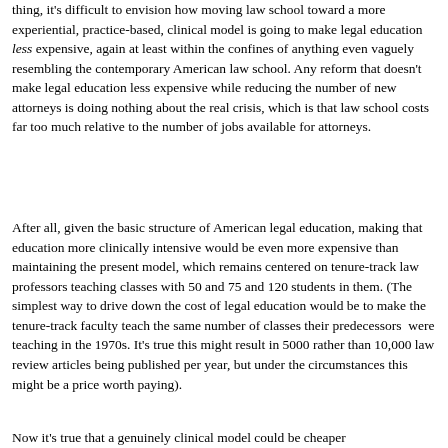thing, it's difficult to envision how moving law school toward a more experiential, practice-based, clinical model is going to make legal education less expensive, again at least within the confines of anything even vaguely resembling the contemporary American law school. Any reform that doesn't make legal education less expensive while reducing the number of new attorneys is doing nothing about the real crisis, which is that law school costs far too much relative to the number of jobs available for attorneys.
After all, given the basic structure of American legal education, making that education more clinically intensive would be even more expensive than maintaining the present model, which remains centered on tenure-track law professors teaching classes with 50 and 75 and 120 students in them. (The simplest way to drive down the cost of legal education would be to make the tenure-track faculty teach the same number of classes their predecessors were teaching in the 1970s. It's true this might result in 5000 rather than 10,000 law review articles being published per year, but under the circumstances this might be a price worth paying).
Now it's true that a genuinely clinical model could be cheaper...